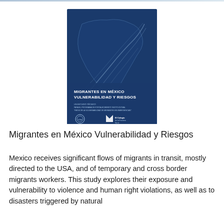[Figure (illustration): Book cover of 'Migrantes en México Vulnerabilidad y Riesgos' — dark navy blue background with a white line map of Mexico showing migration routes, with logos of IOM and El Colegio de la Frontera Norte at the bottom.]
Migrantes en México Vulnerabilidad y Riesgos
Mexico receives significant flows of migrants in transit, mostly directed to the USA, and of temporary and cross border migrants workers. This study explores their exposure and vulnerability to violence and human right violations, as well as to disasters triggered by natural